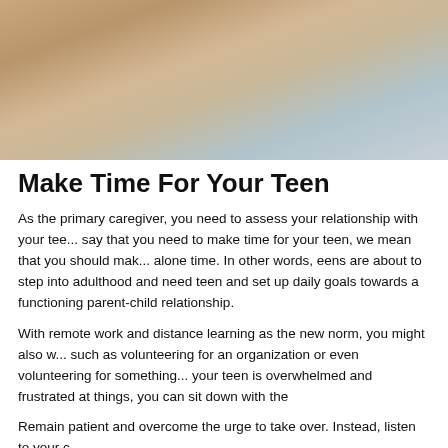[Figure (photo): Blurred close-up photo of a person, warm beige and grey tones, likely a teen or young person]
Make Time For Your Teen
As the primary caregiver, you need to assess your relationship with your teen. When we say that you need to make time for your teen, we mean that you should make space for alone time. In other words, eens are about to step into adulthood and need to set up daily goals towards a functioning parent-child relationship.
With remote work and distance learning as the new norm, you might also want to consider such as volunteering for an organization or even volunteering for something your teen is overwhelmed and frustrated at things, you can sit down with the
Remain patient and overcome the urge to take over. Instead, listen to your c
Work as a Team!
You don't have to be an adult to feel pressured and stressed out. Everyone